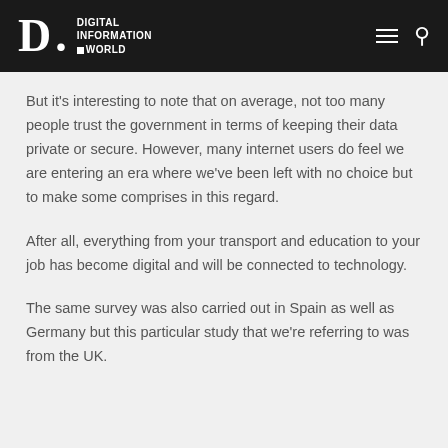DIGITAL INFORMATION WORLD
But it's interesting to note that on average, not too many people trust the government in terms of keeping their data private or secure. However, many internet users do feel we are entering an era where we've been left with no choice but to make some comprises in this regard.
After all, everything from your transport and education to your job has become digital and will be connected to technology.
The same survey was also carried out in Spain as well as Germany but this particular study that we're referring to was from the UK.